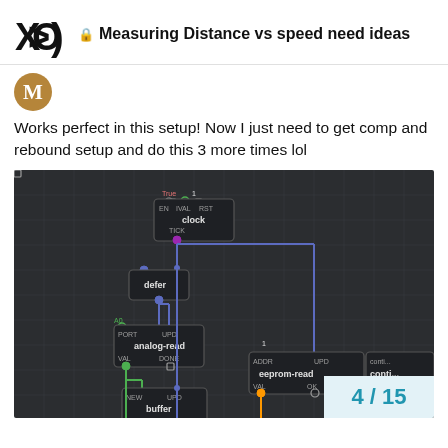Measuring Distance vs speed need ideas
[Figure (screenshot): Avatar placeholder letter M on tan/gold circle background]
Works perfect in this setup! Now I just need to get comp and rebound setup and do this 3 more times lol
[Figure (screenshot): XOD visual programming environment screenshot showing a node-based dataflow diagram. Nodes visible include: clock (with EN, IVAL, RST inputs and TICK output), defer, analog-read (with PORT, UPD inputs and VAL, DONE outputs), buffer (with NEW, UPD inputs and MEM output), eeprom-read (with ADDR, UPD inputs and VAL, OK outputs), and conti... (partially visible). Nodes are connected by blue and green wires on a dark grid background.]
4 / 15